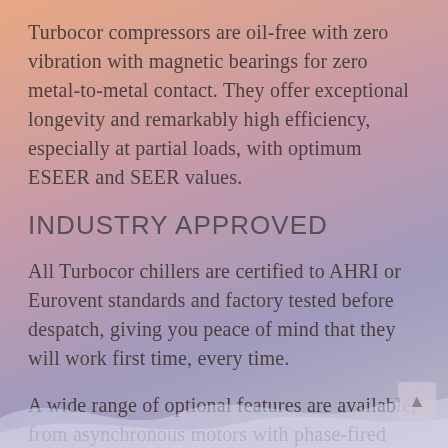Turbocor compressors are oil-free with zero vibration with magnetic bearings for zero metal-to-metal contact. They offer exceptional longevity and remarkably high efficiency, especially at partial loads, with optimum ESEER and SEER values.
INDUSTRY APPROVED
All Turbocor chillers are certified to AHRI or Eurovent standards and factory tested before despatch, giving you peace of mind that they will work first time, every time.
A wide range of optional features are available, from asynchronous motors with phase-fired control, to EC brushless electronic motors and over-pressure alternatives for special applications.
We also offer expert servicing for Turbocor, a